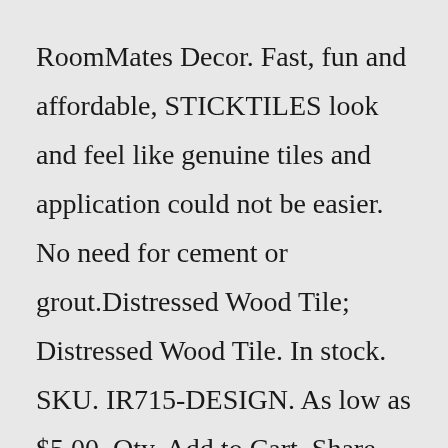RoomMates Decor. Fast, fun and affordable, STICKTILES look and feel like genuine tiles and application could not be easier. No need for cement or grout.Distressed Wood Tile; Distressed Wood Tile. In stock. SKU. IR715-DESIGN. As low as $5.00. Qty. Add to Cart. Share Add to Wish List. Skip to the end of the images gallery STEP 4: PAINT & DISTRESSING. I actually really like the way it looked stained, but that wouldn't